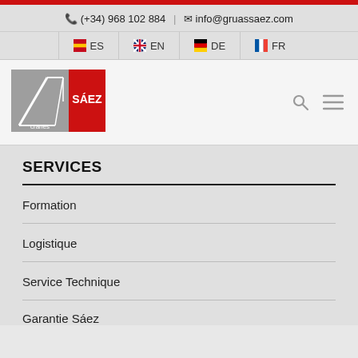(+34) 968 102 884  |  info@gruassaez.com
ES  EN  DE  FR
[Figure (logo): Sáez Cranes logo — grey and red rectangular logo with a crane graphic and 'SÁEZ' text in white on red background, 'cranes' in small text]
SERVICES
Formation
Logistique
Service Technique
Garantie Sáez